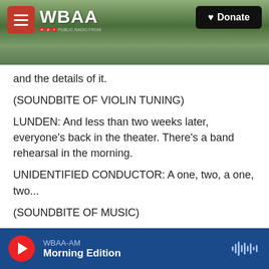[Figure (screenshot): WBAA NPR radio station website header with navigation bar, hamburger menu, WBAA logo, and Donate button, over a nature/tree branch background photo]
and the details of it.
(SOUNDBITE OF VIOLIN TUNING)
LUNDEN: And less than two weeks later, everyone's back in the theater. There's a band rehearsal in the morning.
UNIDENTIFIED CONDUCTOR: A one, two, a one, two...
(SOUNDBITE OF MUSIC)
LUNDEN: That afternoon, the cast assembles
WBAA-AM  Morning Edition